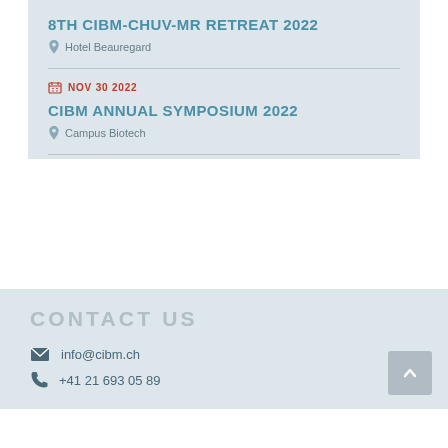8TH CIBM-CHUV-MR RETREAT 2022
Hotel Beauregard
NOV 30 2022
CIBM ANNUAL SYMPOSIUM 2022
Campus Biotech
CONTACT US
info@cibm.ch
+41 21 693 05 89